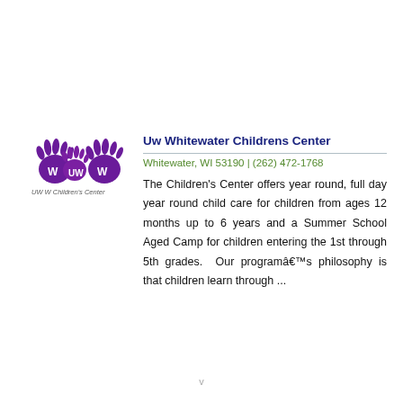[Figure (logo): UW-W Children's Center logo with purple handprints and text 'UW W Children's Center']
Uw Whitewater Childrens Center
Whitewater, WI 53190 | (262) 472-1768
The Children's Center offers year round, full day year round child care for children from ages 12 months up to 6 years and a Summer School Aged Camp for children entering the 1st through 5th grades. Our programâ€™s philosophy is that children learn through ...